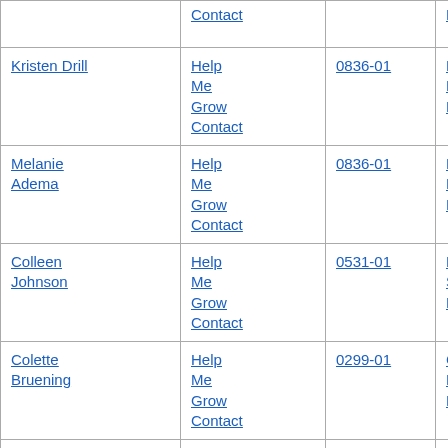| Name | Program | District Code | School District | Email |
| --- | --- | --- | --- | --- |
|  | Help Me Grow Contact |  | District |  |
| Kristen Drill | Help Me Grow Contact | 0836-01 | Butterfield Public School District | kdrill@riverber... |
| Melanie Adema | Help Me Grow Contact | 0836-01 | Butterfield Public School District | madema@rive... |
| Colleen Johnson | Help Me Grow Contact | 0531-01 | Byron Public School District | Zed0-5@zumb... |
| Colette Bruening | Help Me Grow Contact | 0299-01 | Caledonia Public School District | colette_bruenir... |
| Holly Reeve | Help Me Grow Contact | 0299-01 | Caledonia Public School District | HVEDhelpme g... |